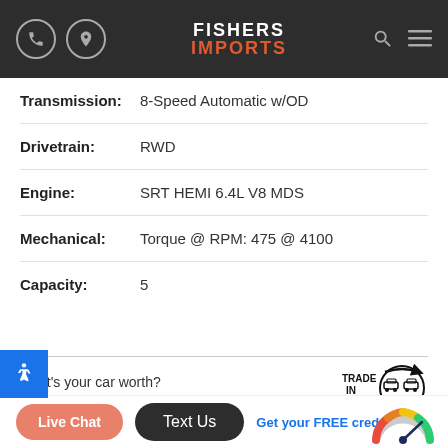[Figure (screenshot): Fishers Imports website header with phone icon, navigation icon, logo (FISHERS IMPORTS), search icon, and hamburger menu on dark background]
Transmission: 8-Speed Automatic w/OD
Drivetrain: RWD
Engine: SRT HEMI 6.4L V8 MDS
Mechanical: Torque @ RPM: 475 @ 4100
Capacity: 5
What's your car worth?
Get online appraisal ›
[Figure (logo): TRADE IN logo with two car icons in circular arrows]
Vehicle history report
Get it free ›
[Figure (logo): SHOW ME THE CARFAX logo]
Live Chat
Text Us
Get your FREE credit
[Figure (infographic): Credit score gauge meter showing needle pointing toward good/green range]